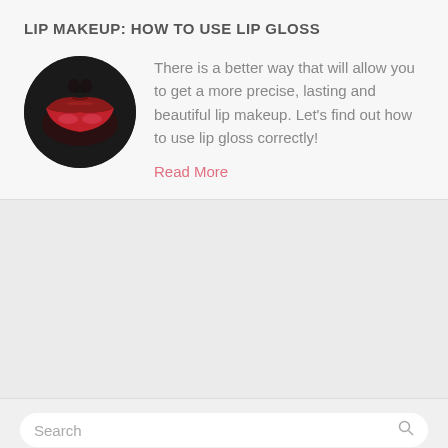LIP MAKEUP: HOW TO USE LIP GLOSS
[Figure (photo): Close-up circular photo of lips with red lipstick/lip gloss applied]
There is a better way that will allow you to get a more precise, lasting and beautiful lip makeup. Let’s find out how to use lip gloss correctly!
Read More